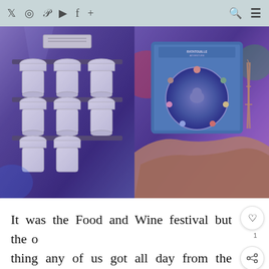Twitter Instagram Pinterest YouTube Facebook + Search Menu
[Figure (photo): Left photo: shelves of white coffee cups with chef hat designs, displayed in rows under blue/purple lighting]
[Figure (photo): Right photo: a hand holding a Ratatouille Adventure themed pin set in a blue box, under blue/purple lighting]
It was the Food and Wine festival but the only thing any of us got all day from the Food and Wine menu was my coffee treat. I was SUPER PUMPED to learn that Joffrey's HAS